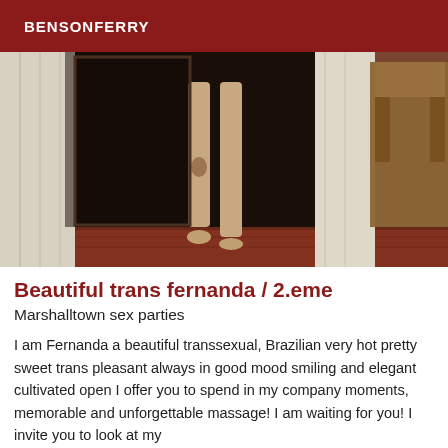BENSONFERRY
[Figure (photo): Indoor photo showing legs of a person standing near a doorway with white curtains, a dark door, and a wooden chair visible on the right side. A rug is visible on the floor.]
Beautiful trans fernanda / 2.eme
Marshalltown sex parties
I am Fernanda a beautiful transsexual, Brazilian very hot pretty sweet trans pleasant always in good mood smiling and elegant cultivated open I offer you to spend in my company moments, memorable and unforgettable massage! I am waiting for you! I invite you to look at my